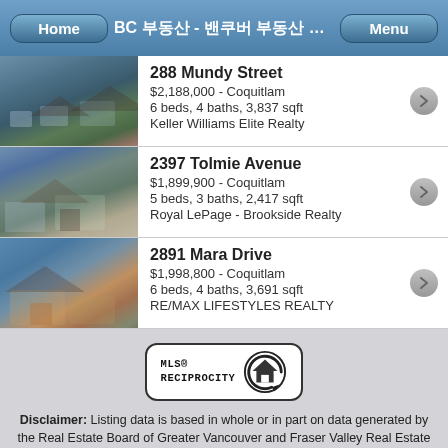Home | BC 부동산 - 밴쿠버 부동산 매물 검색 및 정보 ... | Menu
288 Mundy Street
$2,188,000 - Coquitlam
6 beds, 4 baths, 3,837 sqft
Keller Williams Elite Realty
2397 Tolmie Avenue
$1,899,900 - Coquitlam
5 beds, 3 baths, 2,417 sqft
Royal LePage - Brookside Realty
2891 Mara Drive
$1,998,800 - Coquitlam
6 beds, 4 baths, 3,691 sqft
RE/MAX LIFESTYLES REALTY
[Figure (logo): MLS Reciprocity logo badge]
Disclaimer: Listing data is based in whole or in part on data generated by the Real Estate Board of Greater Vancouver and Fraser Valley Real Estate Board which assumes no responsibility for its accuracy.